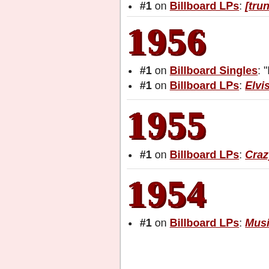#1 on Billboard LPs: [truncated]
1956
#1 on Billboard Singles: "Heartb[reaker]"
#1 on Billboard LPs: Elvis Presl[ey]
1955
#1 on Billboard LPs: Crazy Otto
1954
#1 on Billboard LPs: Music For ...